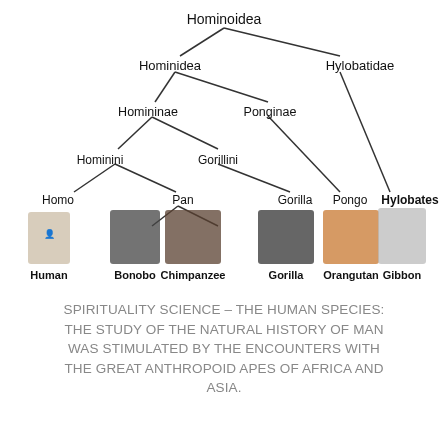[Figure (organizational-chart): Phylogenetic tree of Hominoidea showing taxonomic relationships. Top node: Hominoidea splits into Hominidea and Hylobatidae. Hominidea splits into Homininae and Ponginae. Homininae splits into Hominini and Gorillini. Hominini splits into Homo and Pan. Gorillini connects to Gorilla. Ponginae connects to Pongo. Hylobatidae connects to Hylobates. Bottom shows animal photos labeled: Human, Bonobo, Chimpanzee, Gorilla, Orangutan, Gibbon.]
SPIRITUALITY SCIENCE – THE HUMAN SPECIES: THE STUDY OF THE NATURAL HISTORY OF MAN WAS STIMULATED BY THE ENCOUNTERS WITH THE GREAT ANTHROPOID APES OF AFRICA AND ASIA.